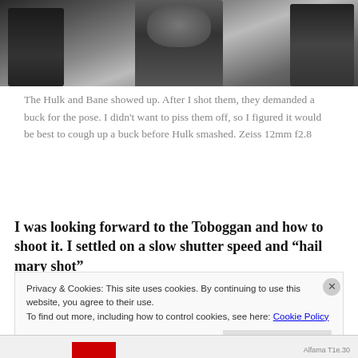[Figure (photo): Black and white photo showing a person in a muscular superhero (Hulk/Bane) costume with arms spread wide, flanked by other people on a street]
The Hulk and Bane showed up. After I shot them, they demanded a buck for the pose. I didn't want to piss them off, so I figured it would be best to cough up a buck before Hulk smashed. Zeiss 12mm f2.8
I was looking forward to the Toboggan and how to shoot it. I settled on a slow shutter speed and “hail mary shot”
Privacy & Cookies: This site uses cookies. By continuing to use this website, you agree to their use.
To find out more, including how to control cookies, see here: Cookie Policy
Close and accept